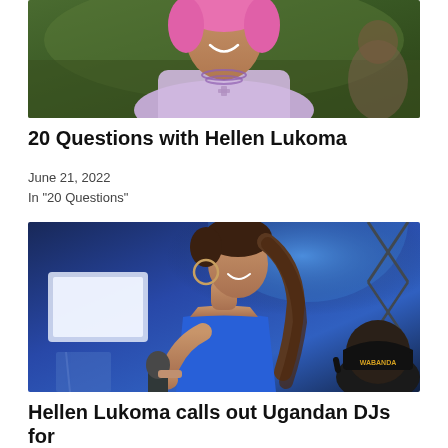[Figure (photo): Woman with pink hair wearing a purple/lavender outfit and bead necklace with cross, smiling at an outdoor event]
20 Questions with Hellen Lukoma
June 21, 2022
In "20 Questions"
[Figure (photo): Woman with curly brown hair in a blue top singing into a microphone on stage, with a man in a black WABANDA cap in the background]
Hellen Lukoma calls out Ugandan DJs for